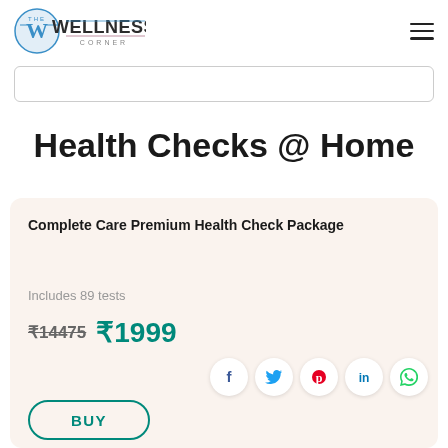[Figure (logo): The Wellness Corner logo with a teal/blue circle W icon and text]
Health Checks @ Home
Complete Care Premium Health Check Package
Includes 89 tests
₹14475  ₹1999
BUY